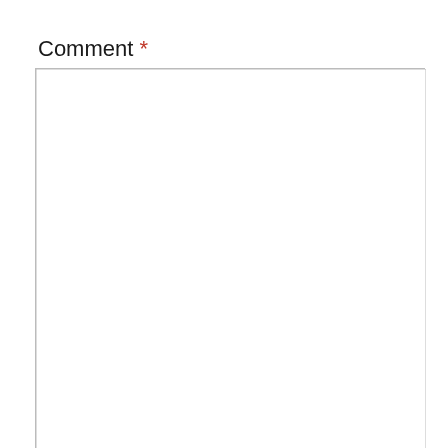Comment *
[Figure (screenshot): Empty comment text area input box with resize handle at bottom right]
Privacy & Cookies: This site uses cookies. By continuing to use this website, you agree to their use.
To find out more, including how to control cookies, see here: Cookie Policy
Close and accept